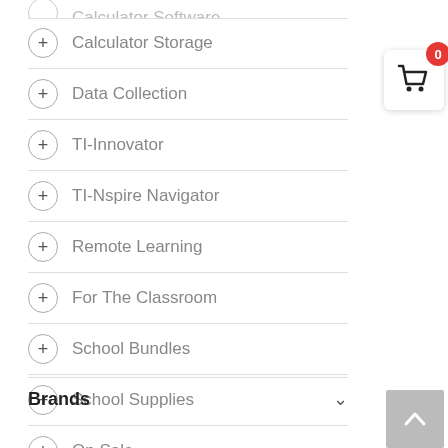Calculator Software (clipped)
Calculator Storage
Data Collection
TI-Innovator
TI-Nspire Navigator
Remote Learning
For The Classroom
School Bundles
School Supplies
On Sale
[Figure (screenshot): Shopping cart icon with red badge showing 0 items]
Brands
[Figure (other): Back to top arrow button]